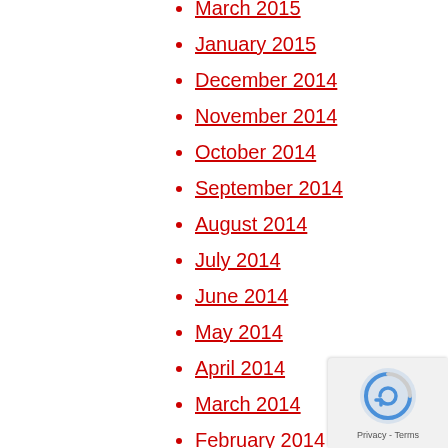March 2015
January 2015
December 2014
November 2014
October 2014
September 2014
August 2014
July 2014
June 2014
May 2014
April 2014
March 2014
February 2014
January 2014
December 2013